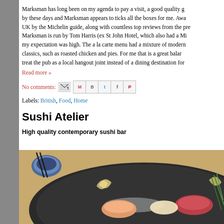Marksman has long been on my agenda to pay a visit, a good quality g... by these days and Marksman appears to ticks all the boxes for me. Awa... UK by the Michelin guide, along with countless top reviews from the pre... Marksman is run by Tom Harris (ex St John Hotel, which also had a Mi... my expectation was high. The a la carte menu had a mixture of modern... classics, such as roasted chicken and pies. For me that is a great balar... treat the pub as a local hangout joint instead of a dining destination for ...
Read more »
No comments:
Labels: British, Food, Home
Sushi Atelier
High quality contemporary sushi bar
[Figure (photo): A dark ceramic plate with sashimi and sushi pieces, garnished with decorative leaves and green onions. A small blue and white sauce dish with chopsticks is visible in the upper left.]